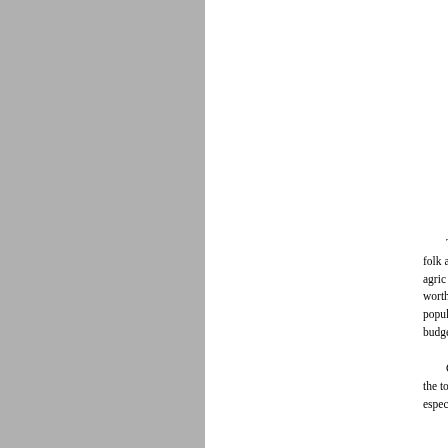[Figure (other): Gray rectangular panel on the left side of the page, approximately half the page width, serving as a decorative or image placeholder element.]
The residents of Sunderland are fun-loving folk and one of the best events because it highlights the agricultural one way or another to make the most is something worth celebrating, anniversary, college graduation, popular party rentals in inventory to help them stick to budget.

Customers from Sunderland providing only the top quality live by the same values that especially when it comes to th